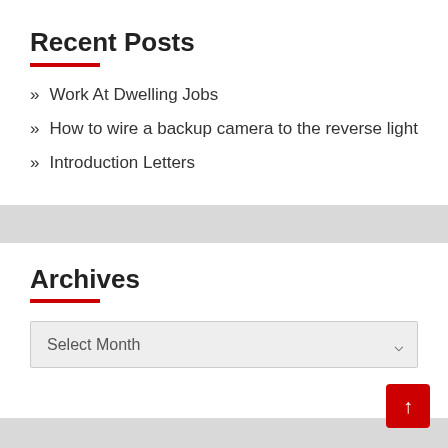Recent Posts
Work At Dwelling Jobs
How to wire a backup camera to the reverse light
Introduction Letters
Archives
Select Month